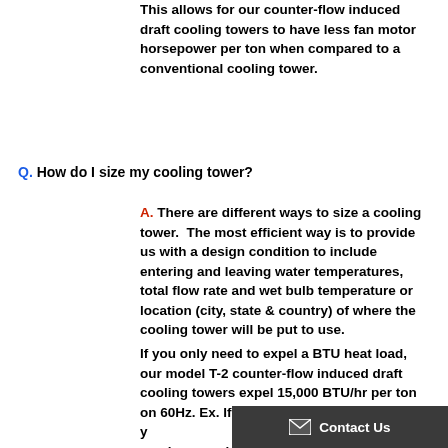This allows for our counter-flow induced draft cooling towers to have less fan motor horsepower per ton when compared to a conventional cooling tower.
Q. How do I size my cooling tower?
A. There are different ways to size a cooling tower. The most efficient way is to provide us with a design condition to include entering and leaving water temperatures, total flow rate and wet bulb temperature or location (city, state & country) of where the cooling tower will be put to use.
If you only need to expel a BTU heat load, our model T-2 counter-flow induced draft cooling towers expel 15,000 BTU/hr per ton on 60Hz. Ex. If you need to expel 45,000 BTU, you need our model T-23. 45,000...